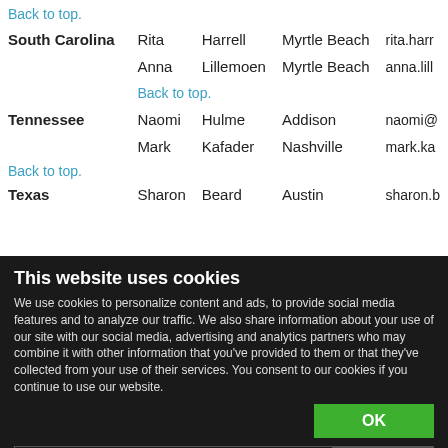Back to top.
| State | First | Last | City | Email |
| --- | --- | --- | --- | --- |
| South Carolina | Rita | Harrell | Myrtle Beach | rita.harr... |
|  | Anna | Lillemoen | Myrtle Beach | anna.lill... |
|  | Back to top. |  |  |  |
| Tennessee | Naomi | Hulme | Addison | naomi@... |
|  | Mark | Kafader | Nashville | mark.ka... |
| Back to top. |  |  |  |  |
| Texas | Sharon | Beard | Austin | sharon.b... |
This website uses cookies
We use cookies to personalize content and ads, to provide social media features and to analyze our traffic. We also share information about your use of our site with our social media, advertising and analytics partners who may combine it with other information that you've provided to them or that they've collected from your use of their services. You consent to our cookies if you continue to use our website.
OK
Necessary  Preferences  Statistics  Marketing  Show details